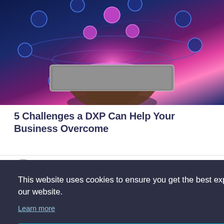[Figure (photo): Hand holding a digital tablet with glowing pink/purple light burst above it, surrounded by floating circular technology icons on a dark blue background — digital experience / technology concept image]
5 Challenges a DXP Can Help Your Business Overcome
Candyscapes Media
[Figure (photo): Two bottom thumbnail images partially visible: left appears to show people/crowd scene, right shows a person in beige/khaki clothing]
This website uses cookies to ensure you get the best experience on our website.
Learn more
Got it!